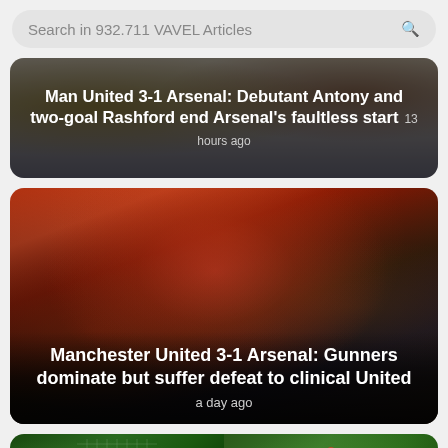Search in 932.711 VAVEL Articles
Man United 3-1 Arsenal: Debutant Antony and two-goal Rashford end Arsenal's faultless start
Manchester United 3-1 Arsenal: Gunners dominate but suffer defeat to clinical United
[Figure (photo): Partial view of a sports article card with green football pitch background]